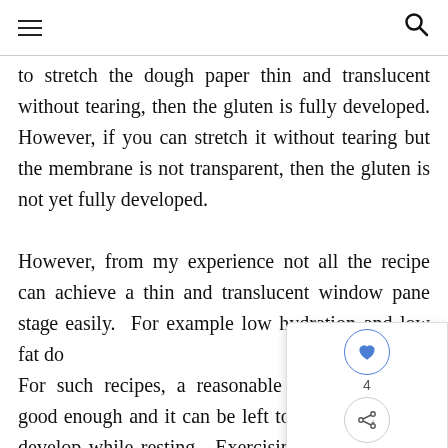[navigation header with hamburger menu and search icon]
to stretch the dough paper thin and translucent without tearing, then the gluten is fully developed. However, if you can stretch it without tearing but the membrane is not transparent, then the gluten is not yet fully developed.

However, from my experience not all the recipe can achieve a thin and translucent window pane stage easily. For example low hydration and low fat do... For such recipes, a reasonable window pane is good enough and it can be left to rest. Gluten w... develop while resting. Exercising restraint to not over-